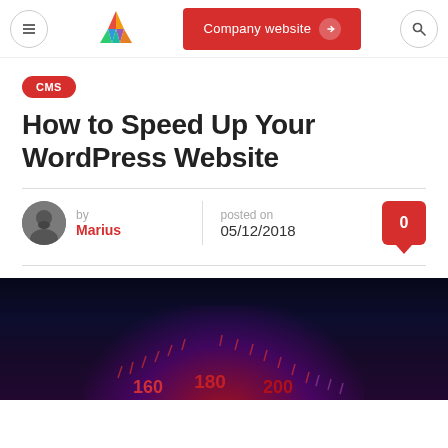Company website
CMS
How to Speed Up Your WordPress Website
by Marius  posted on 05/12/2018  0
[Figure (photo): Dark speedometer gauge showing numbers 160, 180, 200 with red/purple glow lighting effect on dark background]